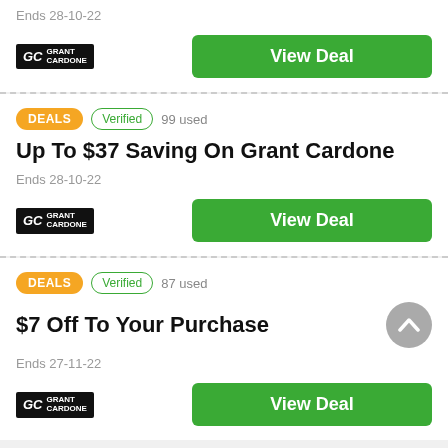Ends 28-10-22
[Figure (logo): Grant Cardone GC logo black background]
View Deal
DEALS  Verified  99 used
Up To $37 Saving On Grant Cardone
Ends 28-10-22
[Figure (logo): Grant Cardone GC logo black background]
View Deal
DEALS  Verified  87 used
$7 Off To Your Purchase
Ends 27-11-22
[Figure (logo): Grant Cardone GC logo black background]
View Deal